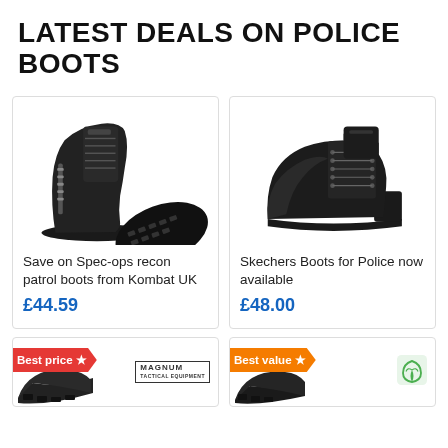LATEST DEALS ON POLICE BOOTS
[Figure (photo): Black Spec-ops recon patrol boots from Kombat UK, shown as a pair with one boot upright and one showing the sole]
Save on Spec-ops recon patrol boots from Kombat UK
£44.59
[Figure (photo): Black Skechers police boot, side view showing laces and sturdy sole]
Skechers Boots for Police now available
£48.00
[Figure (photo): Bottom card left: dark boot with red 'Best price' star badge and Magnum logo]
[Figure (photo): Bottom card right: dark boot with orange 'Best value' star badge and green leaf logo]